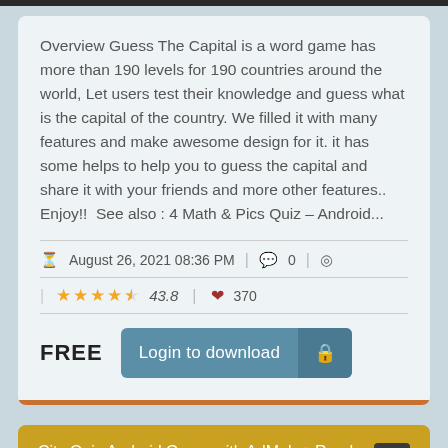Overview Guess The Capital is a word game has more than 190 levels for 190 countries around the world, Let users test their knowledge and guess what is the capital of the country. We filled it with many features and make awesome design for it. it has some helps to help you to guess the capital and share it with your friends and more other features.. Enjoy!!  See also : 4 Math & Pics Quiz – Android...
August 26, 2021 08:36 PM  0
43.8  370
FREE  Login to download
City Quiz Android Game with AdMob + Ready to Publish